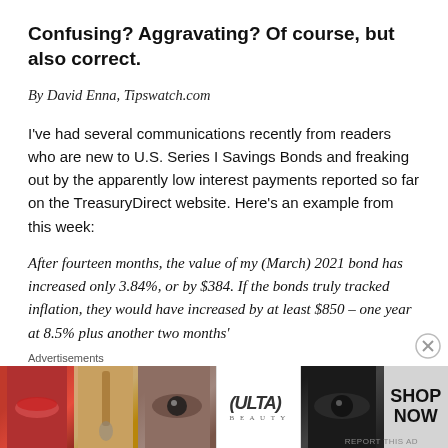Confusing? Aggravating? Of course, but also correct.
By David Enna, Tipswatch.com
I've had several communications recently from readers who are new to U.S. Series I Savings Bonds and freaking out by the apparently low interest payments reported so far on the TreasuryDirect website. Here's an example from this week:
After fourteen months, the value of my (March) 2021 bond has increased only 3.84%, or by $384. If the bonds truly tracked inflation, they would have increased by at least $850 – one year at 8.5% plus another two months'
[Figure (advertisement): ULTA Beauty advertisement banner with cosmetics imagery and 'SHOP NOW' call to action]